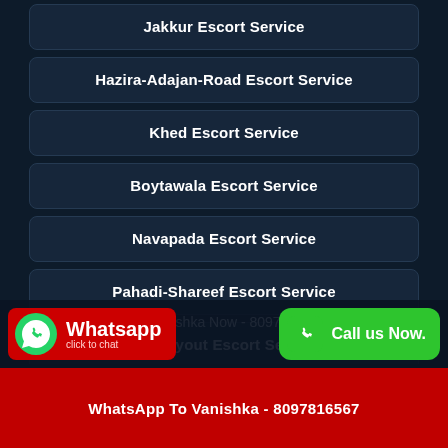Jakkur Escort Service
Hazira-Adajan-Road Escort Service
Khed Escort Service
Boytawala Escort Service
Navapada Escort Service
Pahadi-Shareef Escort Service
Hal-Layout Escort Service
Call Vanishka Now - 8097816567
WhatsApp To Vanishka - 8097816567